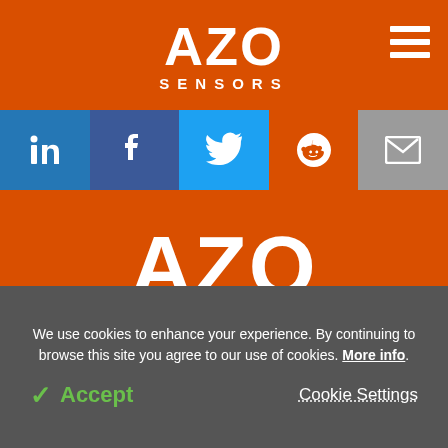AZO SENSORS
[Figure (infographic): Social media icon bar with LinkedIn, Facebook, Twitter, Reddit, and Email icons in colored cells]
[Figure (logo): AZO SENSORS logo in white on orange background with LinkedIn, Facebook, and Twitter circular icons below]
We use cookies to enhance your experience. By continuing to browse this site you agree to our use of cookies. More info.
✓ Accept   Cookie Settings